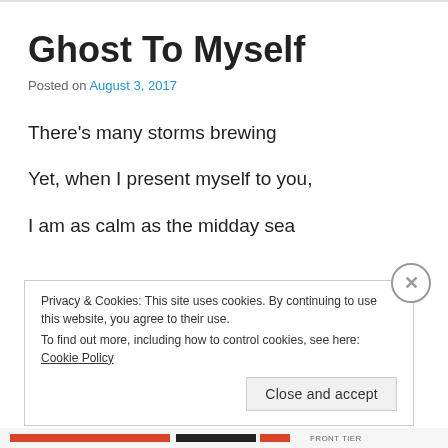Ghost To Myself
Posted on August 3, 2017
There’s many storms brewing
Yet, when I present myself to you,
I am as calm as the midday sea
Privacy & Cookies: This site uses cookies. By continuing to use this website, you agree to their use.
To find out more, including how to control cookies, see here: Cookie Policy
Close and accept